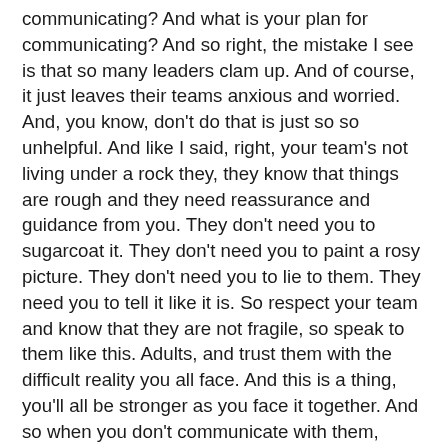communicating? And what is your plan for communicating? And so right, the mistake I see is that so many leaders clam up. And of course, it just leaves their teams anxious and worried. And, you know, don't do that is just so so unhelpful. And like I said, right, your team's not living under a rock they, they know that things are rough and they need reassurance and guidance from you. They don't need you to sugarcoat it. They don't need you to paint a rosy picture. They don't need you to lie to them. They need you to tell it like it is. So respect your team and know that they are not fragile, so speak to them like this. Adults, and trust them with the difficult reality you all face. And this is a thing, you'll all be stronger as you face it together. And so when you don't communicate with them, when you don't tell them, the situation as it is, you lose trust with your team. So it really undermines their trust in you, they need you to be able to talk to them directly about the situation. So another way that this pattern shows up is sometimes leaders resist communicating with their team,